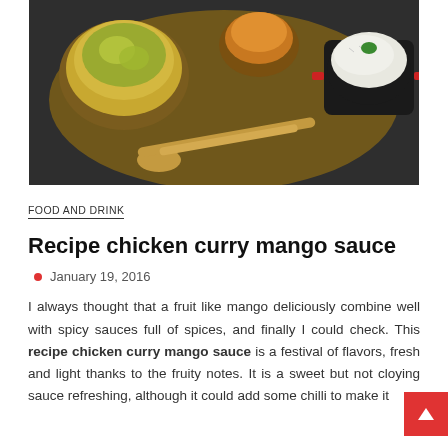[Figure (photo): Overhead view of Indian curry dishes with rice and wooden spoon on dark background]
FOOD AND DRINK
Recipe chicken curry mango sauce
January 19, 2016
I always thought that a fruit like mango deliciously combine well with spicy sauces full of spices, and finally I could check. This recipe chicken curry mango sauce is a festival of flavors, fresh and light thanks to the fruity notes. It is a sweet but not cloying sauce refreshing, although it could add some chilli to make it